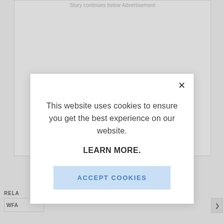Story continues below Advertisement
RELA
WFA
This website uses cookies to ensure you get the best experience on our website.

LEARN MORE.

ACCEPT COOKIES